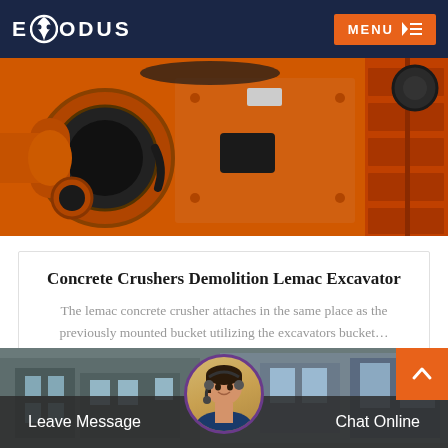EXODUS  MENU
[Figure (photo): Close-up photo of orange industrial concrete crusher machinery with circular openings and metal components on the left side and red/orange shelving or racking on the right side.]
Concrete Crushers Demolition Lemac Excavator
The lemac concrete crusher attaches in the same place as the previously mounted bucket utilizing the excavators bucket…
READ MORE
[Figure (photo): Industrial facility or warehouse background image with a female customer service agent avatar in a circular frame at the bottom center, with Leave Message and Chat Online options displayed.]
Leave Message
Chat Online